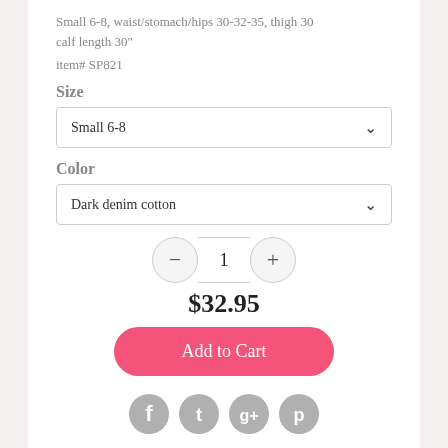Small 6-8, waist/stomach/hips 30-32-35, thigh 30 calf length 30"
item# SP821
Size
Small 6-8
Color
Dark denim cotton
1
$32.95
Add to Cart